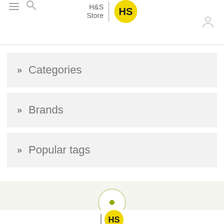H&S Store
» Categories
» Brands
» Popular tags
[Figure (logo): Loading spinner circle with olive green dot in center, and partial H&S Store logo at bottom]